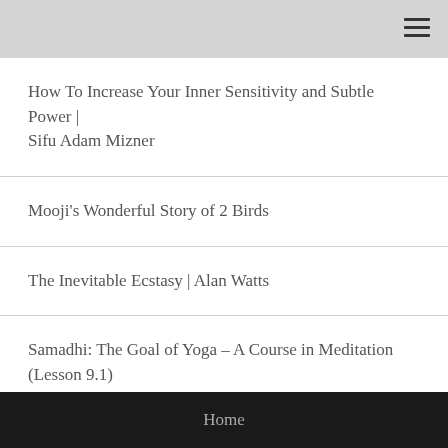How To Increase Your Inner Sensitivity and Subtle Power | Sifu Adam Mizner
Mooji's Wonderful Story of 2 Birds
The Inevitable Ecstasy | Alan Watts
Samadhi: The Goal of Yoga – A Course in Meditation (Lesson 9.1)
Home